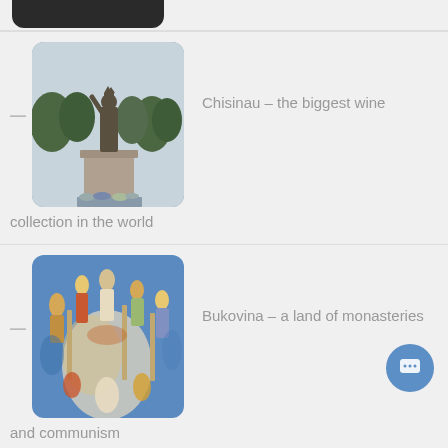[Figure (photo): Partial view of a dark monument/statue on a pedestal, top portion only visible]
[Figure (photo): Statue of a medieval ruler raising his arm, on a stone pedestal with flowers at the base, trees in background - Chisinau]
Chisinau – the biggest wine collection in the world
[Figure (photo): Colorful Orthodox church fresco with painted figures of saints on blue background - Bukovina monastery]
Bukovina – a land of monasteries and communism
[Figure (photo): Partial view of a building with sky background, bottom of page]